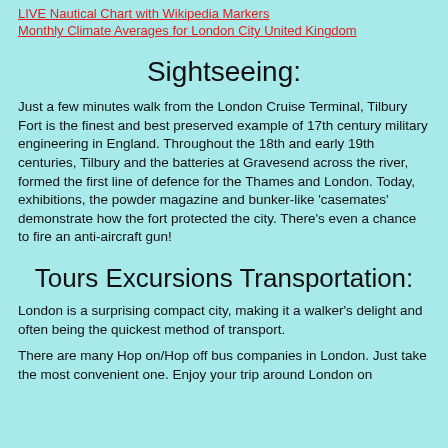LIVE Nautical Chart with Wikipedia Markers
Monthly Climate Averages for London City United Kingdom
Sightseeing:
Just a few minutes walk from the London Cruise Terminal, Tilbury Fort is the finest and best preserved example of 17th century military engineering in England. Throughout the 18th and early 19th centuries, Tilbury and the batteries at Gravesend across the river, formed the first line of defence for the Thames and London. Today, exhibitions, the powder magazine and bunker-like 'casemates' demonstrate how the fort protected the city. There's even a chance to fire an anti-aircraft gun!
Tours Excursions Transportation:
London is a surprising compact city, making it a walker's delight and often being the quickest method of transport.
There are many Hop on/Hop off bus companies in London. Just take the most convenient one. Enjoy your trip around London on the easiest, cheapest and most flexible form of transport.